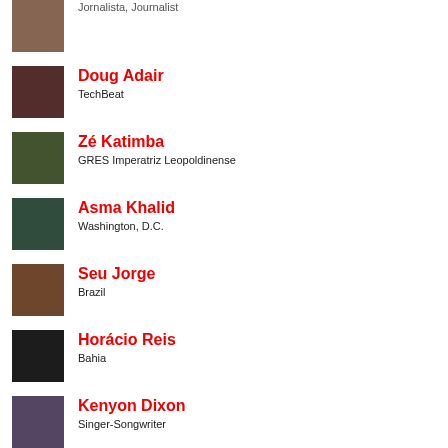Jornalista, Journalist
Doug Adair
TechBeat
Zé Katimba
GRES Imperatriz Leopoldinense
Asma Khalid
Washington, D.C.
Seu Jorge
Brazil
Horácio Reis
Bahia
Kenyon Dixon
Singer-Songwriter
Tomoko Omura